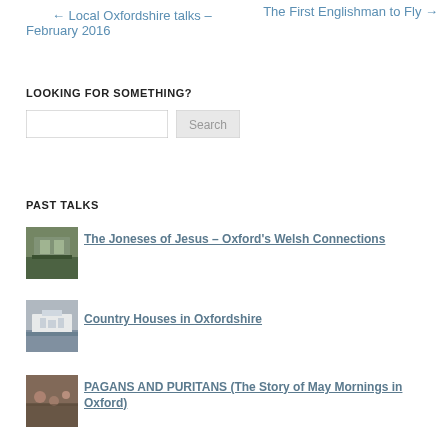← Local Oxfordshire talks –   The First Englishman to Fly →
February 2016
LOOKING FOR SOMETHING?
[Figure (other): Search input box with Search button]
PAST TALKS
[Figure (photo): Thumbnail photo of a building with wisteria – Jesus College Oxford]
The Joneses of Jesus – Oxford's Welsh Connections
[Figure (photo): Thumbnail photo of a white country house]
Country Houses in Oxfordshire
[Figure (photo): Thumbnail photo of a historical painting of a crowd scene]
PAGANS AND PURITANS (The Story of May Mornings in Oxford)